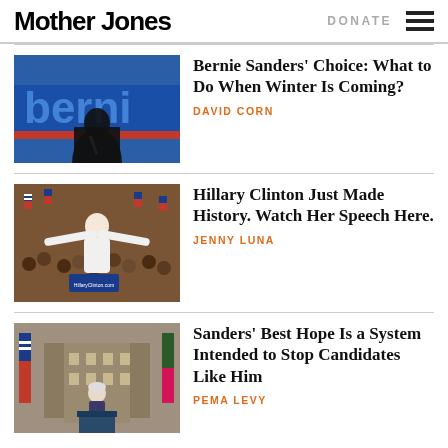Mother Jones | DONATE
[Figure (photo): Silhouette of Bernie Sanders at a campaign rally with 'Bernie' signage in blue background]
Bernie Sanders' Choice: What to Do When Winter Is Coming?
DAVID CORN
[Figure (photo): Hillary Clinton with arms outstretched at a campaign rally, crowd with American flags in background, Hillary Clinton banner visible]
Hillary Clinton Just Made History. Watch Her Speech Here.
JENNY LUNA
[Figure (photo): Bernie Sanders speaking at a podium with American flags and City Hall building in background]
Sanders' Best Hope Is a System Intended to Stop Candidates Like Him
PEMA LEVY